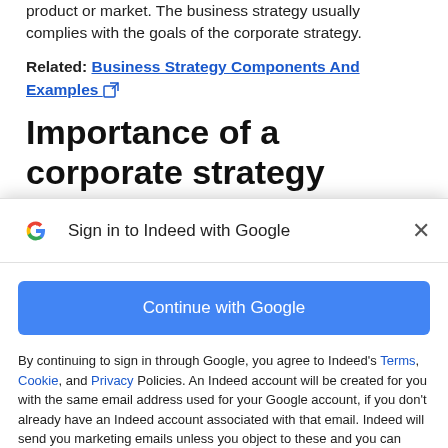product or market. The business strategy usually complies with the goals of the corporate strategy.
Related: Business Strategy Components And Examples
Importance of a corporate strategy
[Figure (screenshot): Google Sign-in modal overlay: 'Sign in to Indeed with Google' header with Google G logo and close X button, a blue 'Continue with Google' button, and disclaimer text about Terms, Cookie, and Privacy policies.]